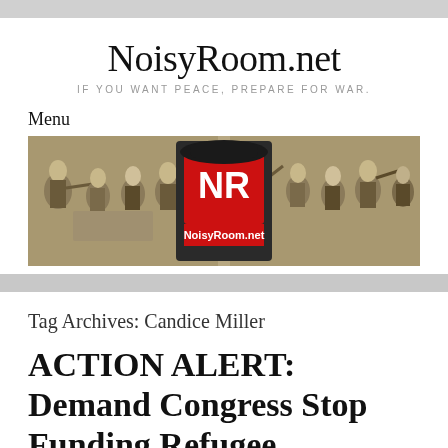NoisyRoom.net
IF YOU WANT PEACE, PREPARE FOR WAR.
Menu
[Figure (illustration): NoisyRoom.net website banner showing historical scenes of men in colonial-era clothing debating, flanking the NoisyRoom.net logo with a fedora-wearing figure and red NR letters.]
Tag Archives: Candice Miller
ACTION ALERT: Demand Congress Stop Funding Refugee Resettlement With Our Tax Dollars